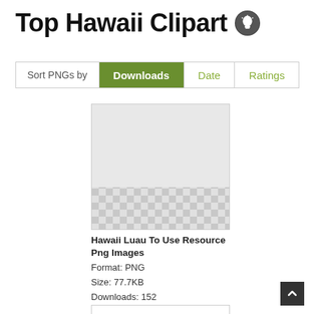Top Hawaii Clipart
| Sort PNGs by | Downloads | Date | Ratings |
| --- | --- | --- | --- |
[Figure (illustration): Thumbnail image of Hawaii Luau clipart PNG with checkerboard transparency pattern at bottom]
Hawaii Luau To Use Resource Png Images
Format: PNG
Size: 77.7KB
Downloads: 152